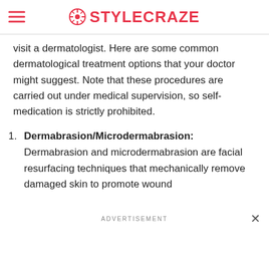STYLECRAZE
visit a dermatologist. Here are some common dermatological treatment options that your doctor might suggest. Note that these procedures are carried out under medical supervision, so self-medication is strictly prohibited.
Dermabrasion/Microdermabrasion: Dermabrasion and microdermabrasion are facial resurfacing techniques that mechanically remove damaged skin to promote wound
ADVERTISEMENT